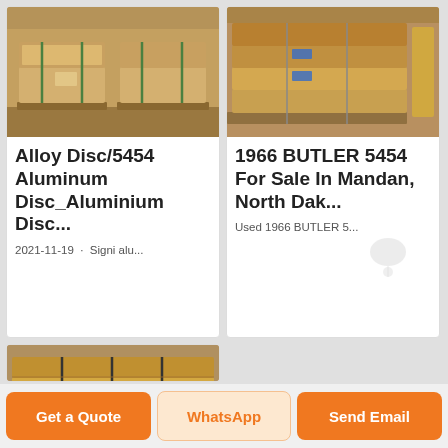[Figure (photo): Cardboard-wrapped aluminum disc packages stacked on pallets with green strapping bands in a warehouse]
Alloy Disc/5454 Aluminum Disc_Aluminium Disc_Alum...
2021-11-19 · Signi alu...
[Figure (photo): Wooden pallets stacked with wrapped aluminum sheets or discs, with blue labels, in a warehouse]
1966 BUTLER 5454 For Sale In Mandan, North Dak...
Used 1966 BUTLER 5...
[Figure (photo): Stacked cardboard-wrapped aluminum sheet packages with black strapping on a pallet]